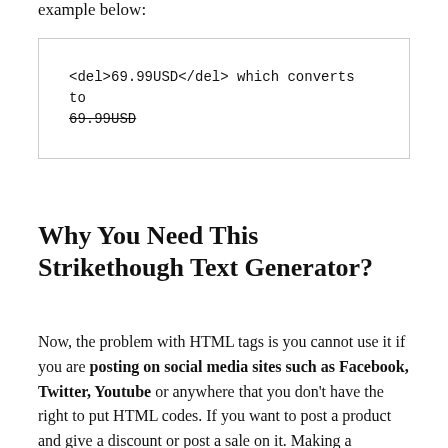example below:
<del>69.99USD</del> which converts to 69.99USD
Why You Need This Strikethough Text Generator?
Now, the problem with HTML tags is you cannot use it if you are posting on social media sites such as Facebook, Twitter, Youtube or anywhere that you don't have the right to put HTML codes. If you want to post a product and give a discount or post a sale on it. Making a